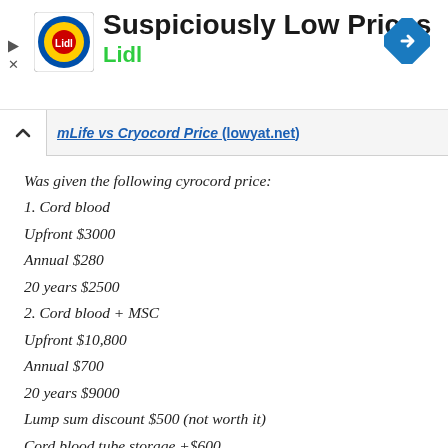[Figure (logo): Lidl advertisement banner with Lidl logo, text 'Suspiciously Low Prices' and 'Lidl', navigation arrow icon]
mLife vs Cryocord Price (lowyat.net)
Was given the following cyrocord price:
1. Cord blood
Upfront $3000
Annual $280
20 years $2500
2. Cord blood + MSC
Upfront $10,800
Annual $700
20 years $9000
Lump sum discount $500 (not worth it)
Cord blood tube storage +$600
Free car seat.
Do you know stemlife pricing?